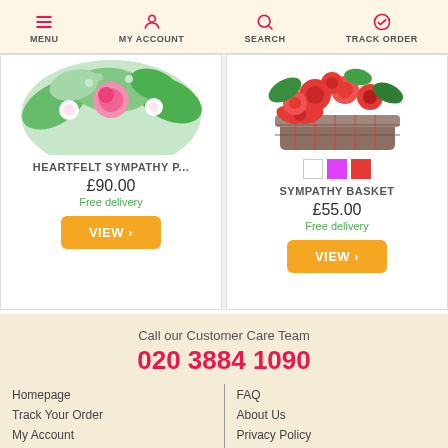MENU | MY ACCOUNT | SEARCH | TRACK ORDER
[Figure (photo): Flower arrangement product image - Heartfelt Sympathy Pillow with pink and white flowers]
HEARTFELT SYMPATHY P...
£90.00
Free delivery
VIEW >
[Figure (photo): Red flower sympathy basket arrangement in wicker basket]
SYMPATHY BASKET
£55.00
Free delivery
VIEW >
Call our Customer Care Team
020 3884 1090
Homepage
Track Your Order
My Account
FAQ
About Us
Privacy Policy